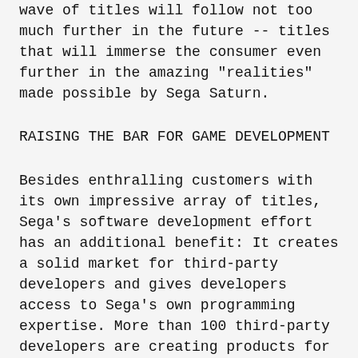wave of titles will follow not too much further in the future -- titles that will immerse the consumer even further in the amazing "realities" made possible by Sega Saturn.
RAISING THE BAR FOR GAME DEVELOPMENT
Besides enthralling customers with its own impressive array of titles, Sega's software development effort has an additional benefit: It creates a solid market for third-party developers and gives developers access to Sega's own programming expertise. More than 100 third-party developers are creating products for Sega Saturn and working closely with Sega to explore the universe of awesome opportunities that Sega Saturn provides.